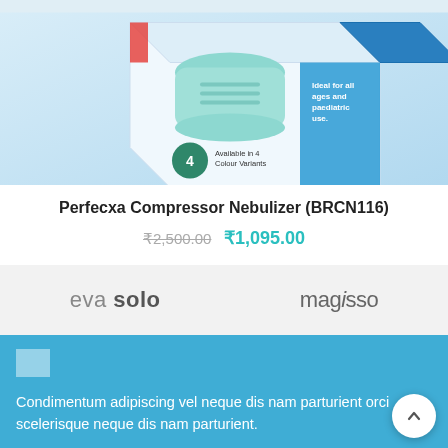[Figure (photo): Perfecxa Compressor Nebulizer product box (BRCN116) — teal/white device visible, box with '4 Colour Variants' badge and 'Ideal for all ages and paediatric use' label on blue panel. Upper portion of product image.]
Perfecxa Compressor Nebulizer (BRCN116)
₹2,500.00 ₹1,095.00
[Figure (logo): Two brand logos side by side on light grey background: 'eva solo' (left) and 'magisso' (right)]
[Figure (logo): Broken/missing image icon (white square placeholder) on blue footer background]
Condimentum adipiscing vel neque dis nam parturient orci scelerisque neque dis nam parturient.